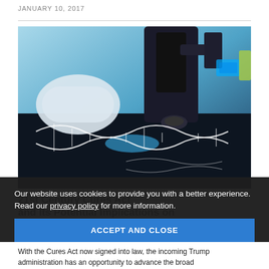JANUARY 10, 2017
[Figure (photo): Close-up photo of a laboratory microscope with a gloved hand and a digital overlay showing a DNA double helix strand on a dark scientific surface, with blue tones and scientific equipment in the background.]
21st Century Cures Act and Its Potential Implications on [Research/Medicine]
Our website uses cookies to provide you with a better experience. Read our privacy policy for more information.
With the Cures Act now signed into law, the incoming Trump administration has an opportunity to advance the broad…